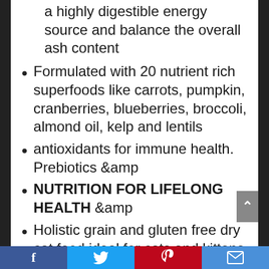a highly digestible energy source and balance the overall ash content
Formulated with 20 nutrient rich superfoods like carrots, pumpkin, cranberries, blueberries, broccoli, almond oil, kelp and lentils
antioxidants for immune health. Prebiotics &amp
NUTRITION FOR LIFELONG HEALTH &amp
Holistic grain and gluten free dry cat food ideal for cats and kittens of all life stages and all sizes
FREE FROM FILLERS: Contains no